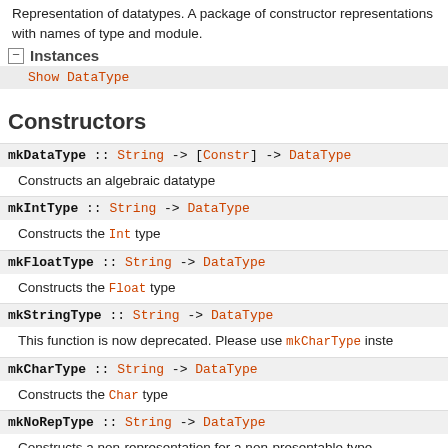Representation of datatypes. A package of constructor representations with names of type and module.
Instances
Show DataType
Constructors
mkDataType :: String -> [Constr] -> DataType
Constructs an algebraic datatype
mkIntType :: String -> DataType
Constructs the Int type
mkFloatType :: String -> DataType
Constructs the Float type
mkStringType :: String -> DataType
This function is now deprecated. Please use mkCharType inste
mkCharType :: String -> DataType
Constructs the Char type
mkNoRepType :: String -> DataType
Constructs a non-representation for a non-presentable type